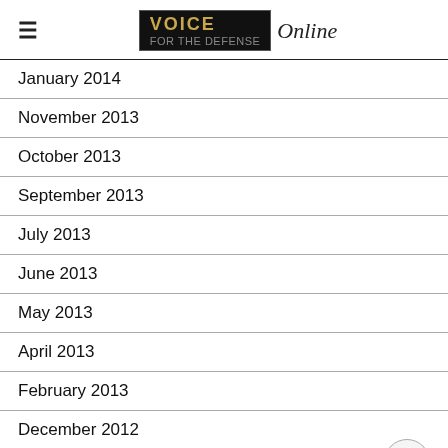VOICE Online
January 2014
November 2013
October 2013
September 2013
July 2013
June 2013
May 2013
April 2013
February 2013
December 2012
November 2012